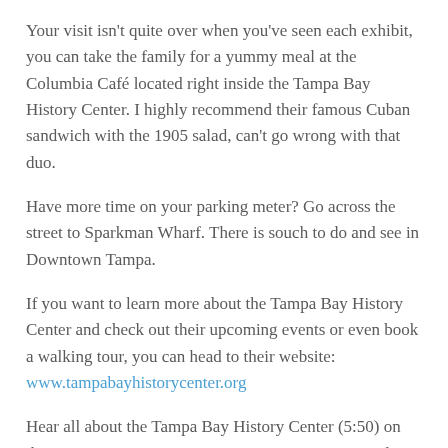Your visit isn't quite over when you've seen each exhibit, you can take the family for a yummy meal at the Columbia Café located right inside the Tampa Bay History Center. I highly recommend their famous Cuban sandwich with the 1905 salad, can't go wrong with that duo.
Have more time on your parking meter? Go across the street to Sparkman Wharf. There is souch to do and see in Downtown Tampa.
If you want to learn more about the Tampa Bay History Center and check out their upcoming events or even book a walking tour, you can head to their website: www.tampabayhistorycenter.org
Hear all about the Tampa Bay History Center (5:50) on the Experience Tampa Bay in 10 Minutes or Less podcast. You can also hear more about a great place where your kids can learn to dance (3:40) and the